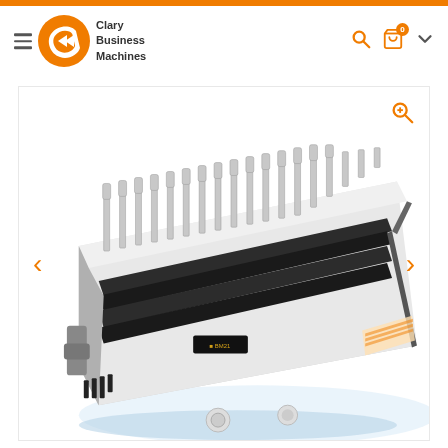Clary Business Machines
[Figure (photo): Close-up photo of a white comb binding machine with metal binding pins/teeth, shown at an angle. The machine appears to be a desktop binding machine with multiple punching pins visible along the top.]